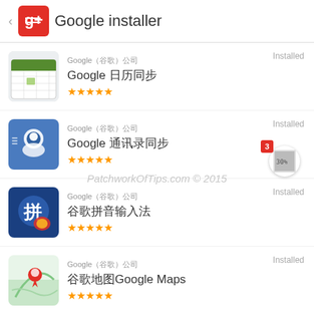Google installer
Google 日历同步 — Google（谷歌）公司 — Installed — ★★★★★
Google 通讯录同步 — Google（谷歌）公司 — Installed — ★★★★★
谷歌拼音输入法 — Google（谷歌）公司 — Installed — ★★★★★
[Figure (screenshot): Watermark overlay: PatchworkOfTips.com © 2015]
谷歌地图Google Maps — Google（谷歌）公司 — Installed — ★★★★★
谷歌浏览器Chrome — Google（谷歌）公司 — Installed — ★★★★★
Google（谷歌）公司 — (partial item)